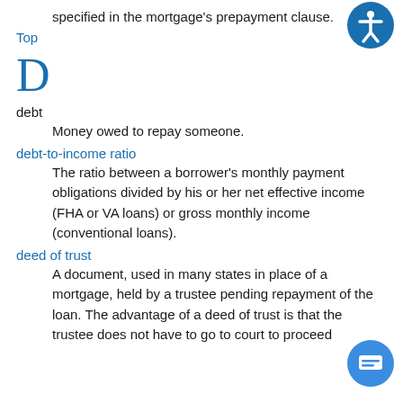specified in the mortgage's prepayment clause.
Top
D
debt
Money owed to repay someone.
debt-to-income ratio
The ratio between a borrower's monthly payment obligations divided by his or her net effective income (FHA or VA loans) or gross monthly income (conventional loans).
deed of trust
A document, used in many states in place of a mortgage, held by a trustee pending repayment of the loan. The advantage of a deed of trust is that the trustee does not have to go to court to proceed